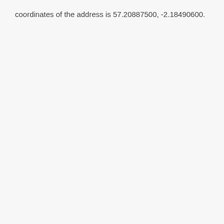coordinates of the address is 57.20887500, -2.18490600.